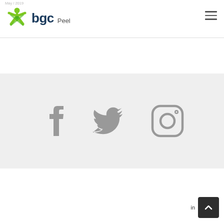BGC Peel
[Figure (logo): BGC Peel logo with green asterisk-like icon and dark blue text 'bgc' with gray 'Peel' subtitle]
[Figure (infographic): Three social media icons in gray: Facebook, Twitter, Instagram on a light gray background]
Login